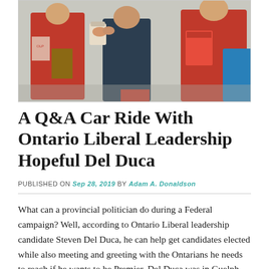[Figure (photo): Photo of people in red shirts/clothing, appearing to be at an outdoor political campaign event, shaking hands or exchanging items.]
A Q&A Car Ride With Ontario Liberal Leadership Hopeful Del Duca
PUBLISHED ON Sep 28, 2019 by Adam A. Donaldson
What can a provincial politician do during a Federal campaign? Well, according to Ontario Liberal leadership candidate Steven Del Duca, he can help get candidates elected while also meeting and greeting with the Ontarians he needs to reach if he wants to be Premier. Del Duca was in Guelph Friday to hand out some with